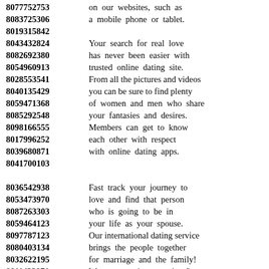8077752753 on our websites, such as
8083725306 a mobile phone or tablet.
8019315842
8043432824 Your search for real love
8082692380 has never been easier with
8054960913 trusted online dating site.
8028553541 From all the pictures and videos
8040135429 you can be sure to find plenty
8059471368 of women and men who share
8085292548 your fantasies and desires.
8098166555 Members can get to know
8017996252 each other with respect
8039680871 with online dating apps.
8041700103
8036542938 Fast track your journey to
8053473970 love and find that person
8087263303 who is going to be in
8059464123 your life as your spouse.
8097787123 Our international dating service
8080403134 brings the people together
8032622195 for marriage and the family!
8011432871 Want to get into marriage?
8058995808 Trying to find some friends?
8092788187
8098527976 We give you an opportunity to